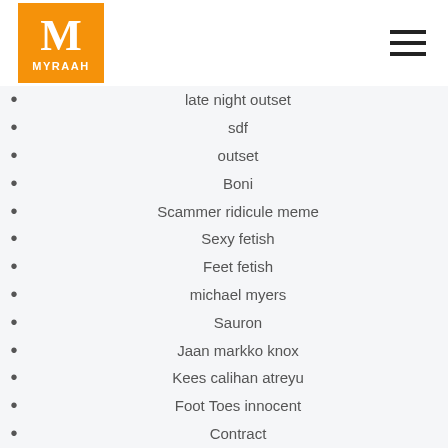[Figure (logo): Myraah logo - orange square with white M letter and MYRAAH text below]
late night outset
sdf
outset
Boni
Scammer ridicule meme
Sexy fetish
Feet fetish
michael myers
Sauron
Jaan markko knox
Kees calihan atreyu
Foot Toes innocent
Contract